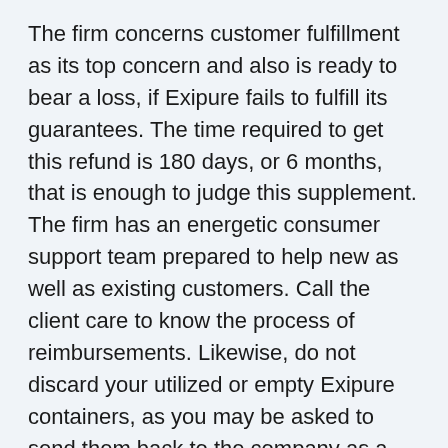The firm concerns customer fulfillment as its top concern and also is ready to bear a loss, if Exipure fails to fulfill its guarantees. The time required to get this refund is 180 days, or 6 months, that is enough to judge this supplement. The firm has an energetic consumer support team prepared to help new as well as existing customers. Call the client care to know the process of reimbursements. Likewise, do not discard your utilized or empty Exipure containers, as you may be asked to send them back to the company as a receipt.
Do not trust sources apart from the official internet site to get your Exipure order as this refund plan does not use on containers bought from somewhere else. Therefore, do not